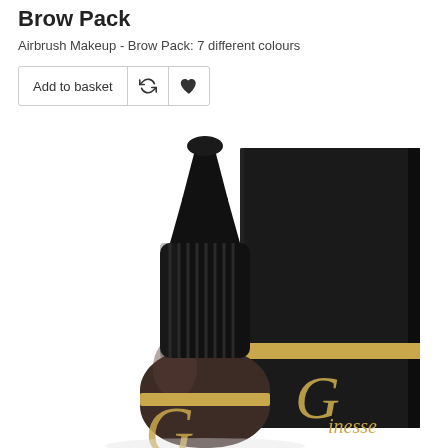Brow Pack
Airbrush Makeup - Brow Pack: 7 different colours
[Figure (photo): Product photo of a dark brown/black dropper bottle with ribbed cap and pointed tip, branded with a gold 'G' and 'inesse' text, next to a black box with gold stripe and matching Ginesse branding, on white background.]